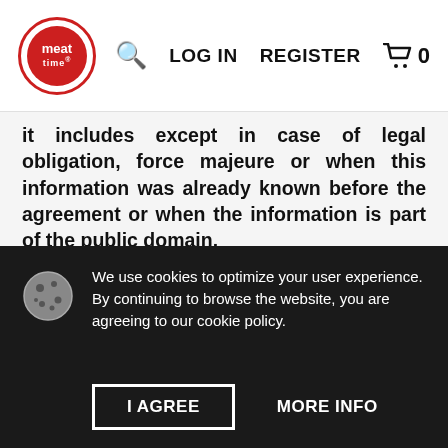meat time | LOG IN | REGISTER | cart 0
it includes except in case of legal obligation, force majeure or when this information was already known before the agreement or when the information is part of the public domain.
INFORMATION
The registered merchant is responsible for the correctness of the product information and has to make sure that this information is correct and complete. Localtomorrow cannot be held
We use cookies to optimize your user experience. By continuing to browse the website, you are agreeing to our cookie policy.
I AGREE   MORE INFO